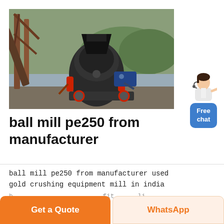[Figure (photo): Industrial ball mill and crushing equipment outdoors near a river, with metal frame structure, conveyor belts, and mountainous background.]
[Figure (illustration): Customer service representative avatar — a woman in white gesturing with hand outstretched, next to a blue rounded button labeled 'Free chat'.]
ball mill pe250 from manufacturer
ball mill pe250 from manufacturer used gold crushing equipment mill in india
Get a Quote
WhatsApp